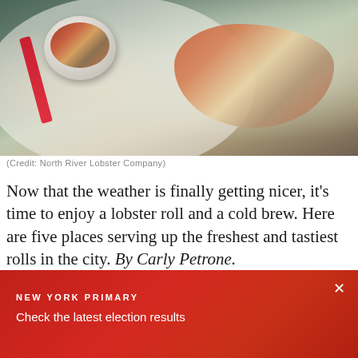[Figure (photo): A lobster roll on a plate with a side bowl of coleslaw and a red fork, viewed from above on a white plate]
(Credit: North River Lobster Company)
Now that the weather is finally getting nicer, it's time to enjoy a lobster roll and a cold brew. Here are five places serving up the freshest and tastiest rolls in the city. By Carly Petrone.
[Figure (photo): Partial second photo visible at bottom, mostly obscured by banner overlay]
NEW YORK PRIMARY
Check the latest election results